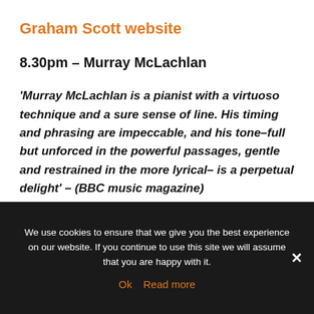Graham Scott website
8.30pm – Murray McLachlan
'Murray McLachlan is a pianist with a virtuoso technique and a sure sense of line. His timing and phrasing are impeccable, and his tone–full but unforced in the powerful passages, gentle and restrained in the more lyrical– is a perpetual delight' – (BBC music magazine)
In great demand as a speaker, Murray has recently
We use cookies to ensure that we give you the best experience on our website. If you continue to use this site we will assume that you are happy with it.
Ok   Read more